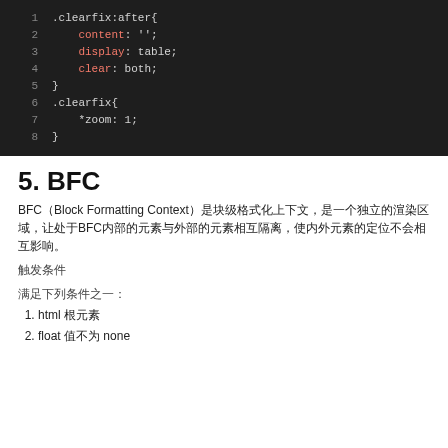[Figure (screenshot): Dark-themed code editor showing CSS clearfix code with line numbers 1-8. Properties 'content', 'display', 'clear' shown in red/salmon color, values in light gray.]
5. BFC
BFC（Block Formatting Context）是块级格式化上下文，是一个独立的渲染区域，让处于BFC内部的元素与外部的元素相互隔离，使内外元素的定位不会相互影响。
触发条件
满足下列条件之一：
1. html 根元素
2. float 值不为 none